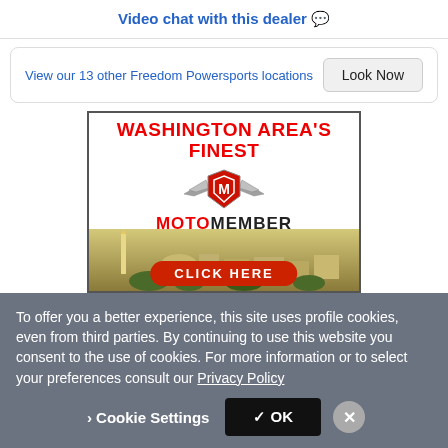Video chat with this dealer 💬
View our 13 other Freedom Powersports locations
Look Now
[Figure (illustration): Advertisement banner for MotoMember showing 'WASHINGTON AREA'S FINEST' in red bold text at top, a winged shield logo in the center, 'MOTOMEMBER' in bold text below, a Washington DC skyline with the Washington Monument in the background, and a red 'CLICK HERE' button at the bottom.]
To offer you a better experience, this site uses profile cookies, even from third parties. By continuing to use this website you consent to the use of cookies. For more information or to select your preferences consult our Privacy Policy
› Cookie Settings
✓ OK